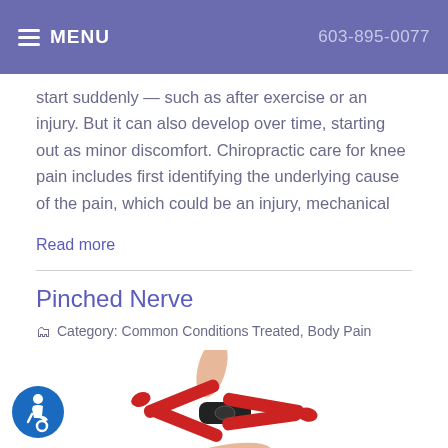MENU   603-895-0077
start suddenly — such as after exercise or an injury. But it can also develop over time, starting out as minor discomfort. Chiropractic care for knee pain includes first identifying the underlying cause of the pain, which could be an injury, mechanical
Read more
Pinched Nerve
Category: Common Conditions Treated, Body Pain
[Figure (photo): Hands holding a red and black spring clamp (binder clip style), used to illustrate a pinched nerve concept]